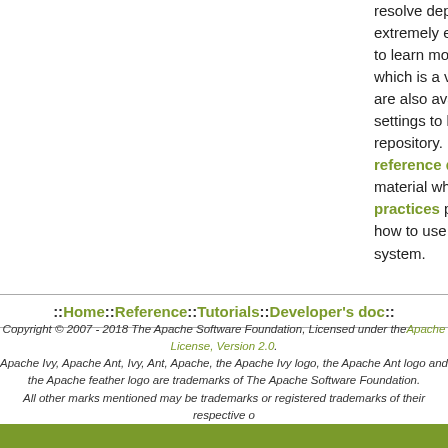resolve dependencies stored in the Maven 2 repository is extremely easy. Now you can go on with the other tutorials to learn more about how to use module configurations which is a very powerful Ivy specific feature. More tutorials are also available where you will learn how to use Ivy settings to leverage a possibly complex enterprise repository. It may be a good time to start reading the reference documentation and especially the introductory material which gives a good overview of Ivy. The best practices page is also a must read to start thinking about how to use Ant+Ivy to build a clean and robust build system.
::Home::Reference::Tutorials::Developer's doc::
Copyright © 2007 - 2018 The Apache Software Foundation, Licensed under the Apache License, Version 2.0. Apache Ivy, Apache Ant, Ivy, Ant, Apache, the Apache Ivy logo, the Apache Ant logo and the Apache feather logo are trademarks of The Apache Software Foundation. All other marks mentioned may be trademarks or registered trademarks of their respective owners.